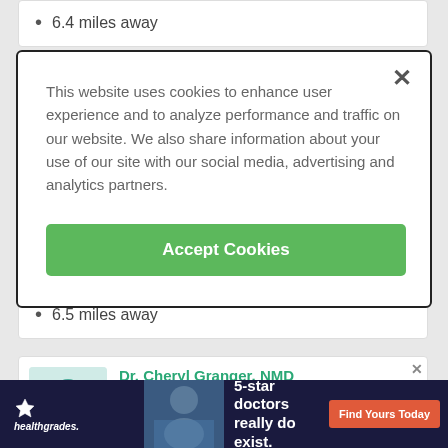6.4 miles away
This website uses cookies to enhance user experience and to analyze performance and traffic on our website. We also share information about your use of our site with our social media, advertising and analytics partners.
Accept Cookies
6.5 miles away
Dr. Cheryl Granger, NMD
Age 50 · Naturopathy
[Figure (screenshot): Healthgrades advertisement banner: '5-star doctors really do exist. Find Yours Today']